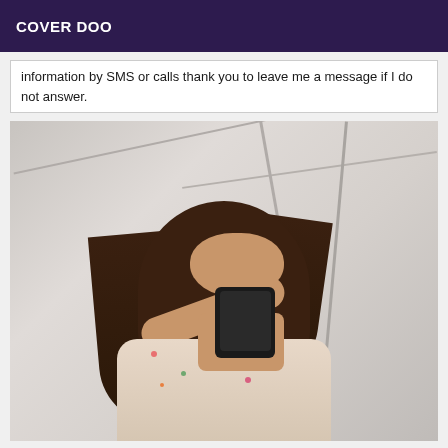COVER DOO
information by SMS or calls thank you to leave me a message if I do not answer.
[Figure (photo): Mirror selfie photo of a young woman with long dark brown hair wearing a floral dress, holding a smartphone taking a photo in a mirror]